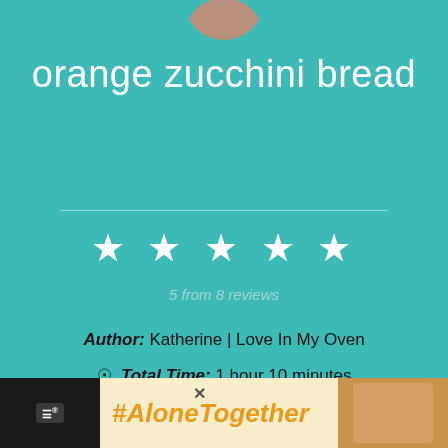[Figure (photo): Circular avatar photo cropped at top, showing person or food image]
orange zucchini bread
[Figure (infographic): 5 white star rating icons]
5 from 8 reviews
Author: Katherine | Love In My Oven
Total Time: 1 hour 10 minutes
PRINT RECIPE
[Figure (photo): Ad banner: #AloneTogether with woman in kitchen photo]